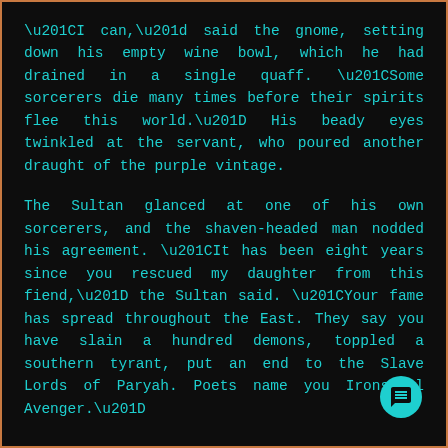“I can,” said the gnome, setting down his empty wine bowl, which he had drained in a single quaff. “Some sorcerers die many times before their spirits flee this world.” His beady eyes twinkled at the servant, who poured another draught of the purple vintage.
The Sultan glanced at one of his own sorcerers, and the shaven-headed man nodded his agreement. “It has been eight years since you rescued my daughter from this fiend,” the Sultan said. “Your fame has spread throughout the East. They say you have slain a hundred demons, toppled a southern tyrant, put an end to the Slave Lords of Paryah. Poets name you Ironspell Avenger.”